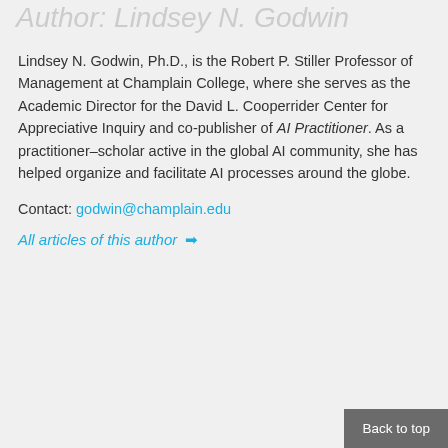Author: Lindsey N. Godwin
Lindsey N. Godwin, Ph.D., is the Robert P. Stiller Professor of Management at Champlain College, where she serves as the Academic Director for the David L. Cooperrider Center for Appreciative Inquiry and co-publisher of AI Practitioner. As a practitioner–scholar active in the global AI community, she has helped organize and facilitate AI processes around the globe.
Contact: godwin@champlain.edu
All articles of this author →